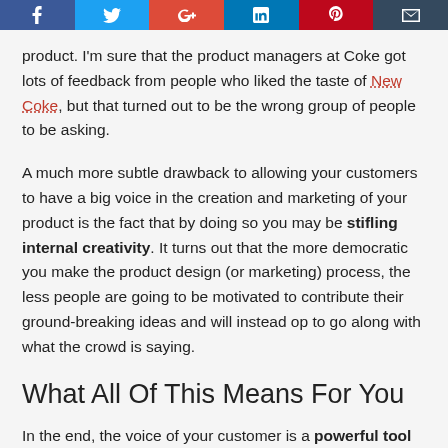[Figure (other): Social media sharing bar with icons for Facebook, Twitter, Google+, LinkedIn, Pinterest, and Email]
product. I'm sure that the product managers at Coke got lots of feedback from people who liked the taste of New Coke, but that turned out to be the wrong group of people to be asking.
A much more subtle drawback to allowing your customers to have a big voice in the creation and marketing of your product is the fact that by doing so you may be stifling internal creativity. It turns out that the more democratic you make the product design (or marketing) process, the less people are going to be motivated to contribute their ground-breaking ideas and will instead op to go along with what the crowd is saying.
What All Of This Means For You
In the end, the voice of your customer is a powerful tool